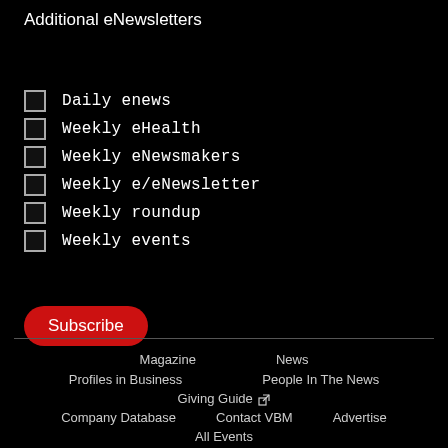Additional eNewsletters
Daily enews
Weekly eHealth
Weekly eNewsmakers
Weekly e/eNewsletter
Weekly roundup
Weekly events
Subscribe
Magazine   News   Profiles in Business   People In The News   Giving Guide   Company Database   Contact VBM   Advertise   All Events   Calendar of Events   Special Events